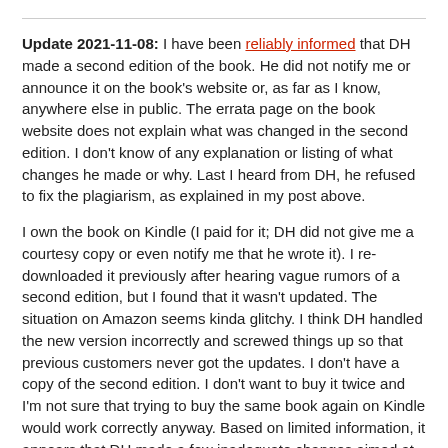Update 2021-11-08: I have been reliably informed that DH made a second edition of the book. He did not notify me or announce it on the book's website or, as far as I know, anywhere else in public. The errata page on the book website does not explain what was changed in the second edition. I don't know of any explanation or listing of what changes he made or why. Last I heard from DH, he refused to fix the plagiarism, as explained in my post above.
I own the book on Kindle (I paid for it; DH did not give me a courtesy copy or even notify me that he wrote it). I re-downloaded it previously after hearing vague rumors of a second edition, but I found that it wasn't updated. The situation on Amazon seems kinda glitchy. I think DH handled the new version incorrectly and screwed things up so that previous customers never got the updates. I don't have a copy of the second edition. I don't want to buy it twice and I'm not sure that trying to buy the same book again on Kindle would work correctly anyway. Based on limited information, it appears that DH made a few inadequate changes aimed at my complaints. My name is now in the book more than zero times, but he's still clearly biased against me. And my post (above) did not attempt to be comprehensive; it was just a few examples from skimming the book. My impression is that DH should have learned what plagiarism is and how it works, then